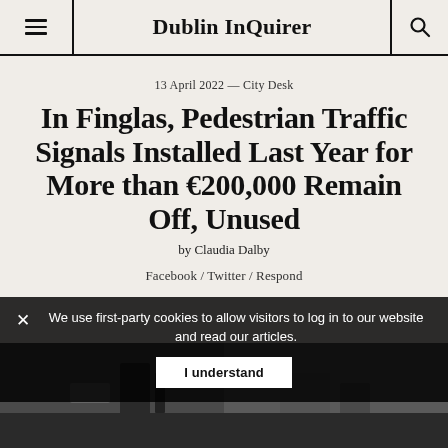Dublin InQuirer
13 April 2022 — City Desk
In Finglas, Pedestrian Traffic Signals Installed Last Year for More than €200,000 Remain Off, Unused
by Claudia Dalby
Facebook / Twitter / Respond
[Figure (photo): Partial photo of a street scene, mostly obscured by cookie banner]
We use first-party cookies to allow visitors to log in to our website and read our articles. I understand